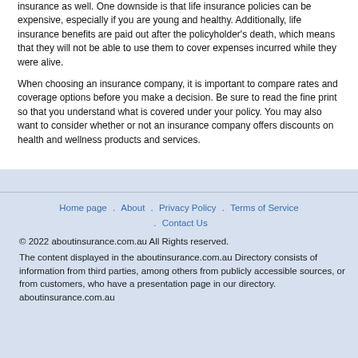insurance as well. One downside is that life insurance policies can be expensive, especially if you are young and healthy. Additionally, life insurance benefits are paid out after the policyholder's death, which means that they will not be able to use them to cover expenses incurred while they were alive.
When choosing an insurance company, it is important to compare rates and coverage options before you make a decision. Be sure to read the fine print so that you understand what is covered under your policy. You may also want to consider whether or not an insurance company offers discounts on health and wellness products and services.
Home page . About . Privacy Policy . Terms of Service . Contact Us
© 2022 aboutinsurance.com.au All Rights reserved.
The content displayed in the aboutinsurance.com.au Directory consists of information from third parties, among others from publicly accessible sources, or from customers, who have a presentation page in our directory. aboutinsurance.com.au